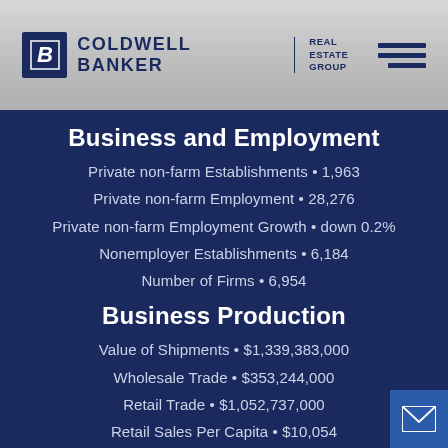COLDWELL BANKER | REAL ESTATE GROUP
Business and Employment
Private non-farm Establishments • 1,963
Private non-farm Employment • 28,276
Private non-farm Employment Growth • down 0.2%
Nonemployer Establishments • 6,184
Number of Firms • 6,954
Business Production
Value of Shipments • $1,339,383,000
Wholesale Trade • $353,244,000
Retail Trade • $1,052,737,000
Retail Sales Per Capita • $10,054
Accommodation and Food Services • $135,939,